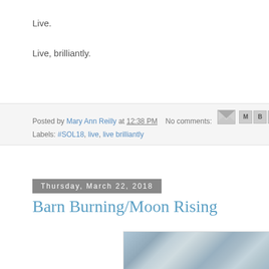Live.
Live, brilliantly.
Posted by Mary Ann Reilly at 12:38 PM   No comments:
Labels: #SOL18, live, live brilliantly
Thursday, March 22, 2018
Barn Burning/Moon Rising
[Figure (photo): A textured abstract image with blue-grey tones, appearing to show a painted or natural surface with scratched or brushed patterns.]